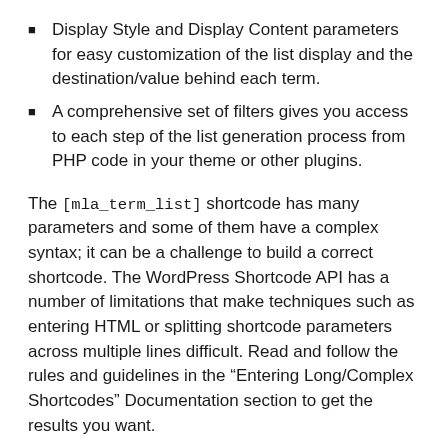Display Style and Display Content parameters for easy customization of the list display and the destination/value behind each term.
A comprehensive set of filters gives you access to each step of the list generation process from PHP code in your theme or other plugins.
The [mla_term_list] shortcode has many parameters and some of them have a complex syntax; it can be a challenge to build a correct shortcode. The WordPress Shortcode API has a number of limitations that make techniques such as entering HTML or splitting shortcode parameters across multiple lines difficult. Read and follow the rules and guidelines in the “Entering Long/Complex Shortcodes” Documentation section to get the results you want.
Many of the [mla_term_list] concepts and shortcode parameters are modeled after the [mla_gallery] and